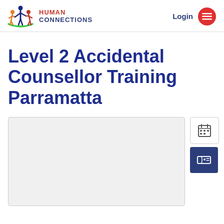Human Connections — Login
Level 2 Accidental Counsellor Training Parramatta
[Figure (map): Map image placeholder for the training venue location in Parramatta]
[Figure (other): Calendar/schedule button icon]
[Figure (other): Ticket/register button icon (dark blue)]